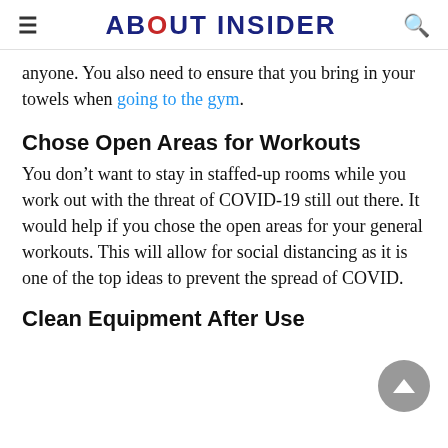ABOUT INSIDER
anyone. You also need to ensure that you bring in your towels when going to the gym.
Chose Open Areas for Workouts
You don’t want to stay in staffed-up rooms while you work out with the threat of COVID-19 still out there. It would help if you chose the open areas for your general workouts. This will allow for social distancing as it is one of the top ideas to prevent the spread of COVID.
Clean Equipment After Use